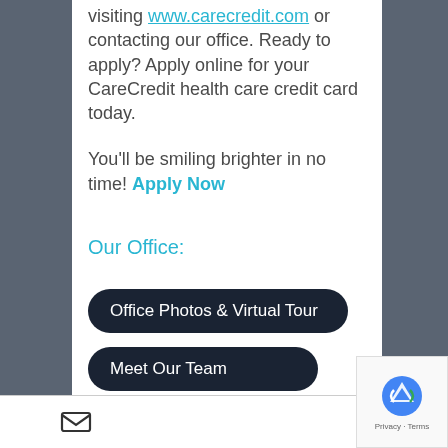visiting www.carecredit.com or contacting our office. Ready to apply? Apply online for your CareCredit health care credit card today.
You'll be smiling brighter in no time! Apply Now
Our Office:
Office Photos & Virtual Tour
Meet Our Team
email icon | phone icon